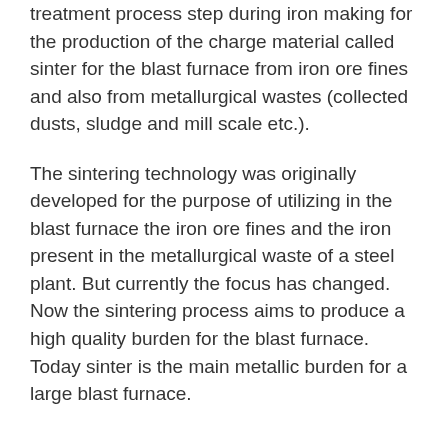treatment process step during iron making for the production of the charge material called sinter for the blast furnace from iron ore fines and also from metallurgical wastes (collected dusts, sludge and mill scale etc.).
The sintering technology was originally developed for the purpose of utilizing in the blast furnace the iron ore fines and the iron present in the metallurgical waste of a steel plant. But currently the focus has changed. Now the sintering process aims to produce a high quality burden for the blast furnace. Today sinter is the main metallic burden for a large blast furnace.
The sintering process is used to agglomerate a mix of